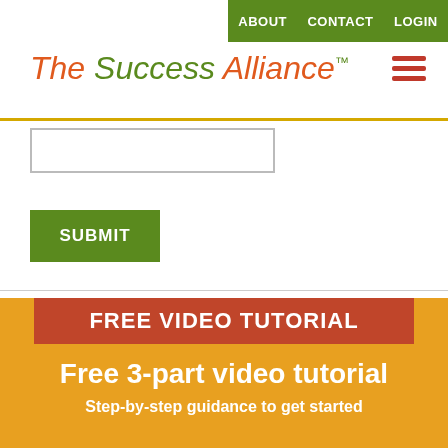ABOUT   CONTACT   LOGIN
The Success Alliance™
[Figure (other): Hamburger menu icon (three horizontal red lines)]
[Figure (other): Empty text input field]
SUBMIT
FREE VIDEO TUTORIAL
Free 3-part video tutorial
Step-by-step guidance to get started